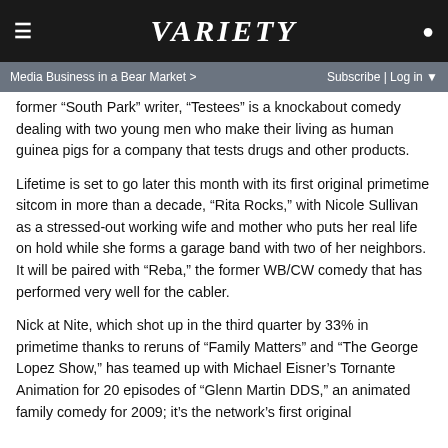VARIETY
Media Business in a Bear Market >   Subscribe | Log in
former “South Park” writer, “Testees” is a knockabout comedy dealing with two young men who make their living as human guinea pigs for a company that tests drugs and other products.
Lifetime is set to go later this month with its first original primetime sitcom in more than a decade, “Rita Rocks,” with Nicole Sullivan as a stressed-out working wife and mother who puts her real life on hold while she forms a garage band with two of her neighbors. It will be paired with “Reba,” the former WB/CW comedy that has performed very well for the cabler.
Nick at Nite, which shot up in the third quarter by 33% in primetime thanks to reruns of “Family Matters” and “The George Lopez Show,” has teamed up with Michael Eisner’s Tornante Animation for 20 episodes of “Glenn Martin DDS,” an animated family comedy for 2009; it’s the network’s first original